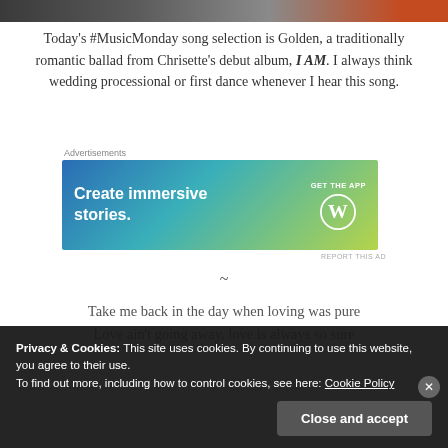[Figure (photo): Cropped photo strip at top of page showing people, partially visible]
Today's #MusicMonday song selection is Golden, a traditionally romantic ballad from Chrisette's debut album, I AM. I always think wedding processional or first dance whenever I hear this song.
Advertisements
[Figure (screenshot): WordPress advertisement banner: 'Create immersive stories. GET THE APP' with WordPress logo]
REPORT THIS AD
~
Take me back in the day when loving was pure
Love ain't going away, love is always so sure
Privacy & Cookies: This site uses cookies. By continuing to use this website, you agree to their use.
To find out more, including how to control cookies, see here: Cookie Policy